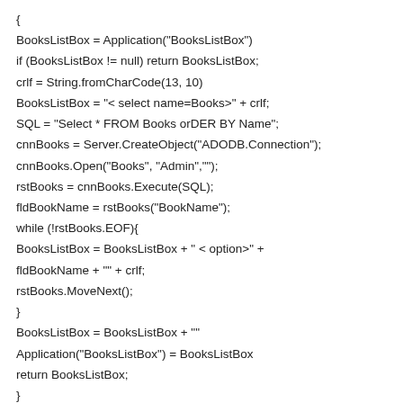{
BooksListBox = Application("BooksListBox")
if (BooksListBox != null) return BooksListBox;
crlf = String.fromCharCode(13, 10)
BooksListBox = "< select name=Books>" + crlf;
SQL = "Select * FROM Books orDER BY Name";
cnnBooks = Server.CreateObject("ADODB.Connection");
cnnBooks.Open("Books", "Admin","");
rstBooks = cnnBooks.Execute(SQL);
fldBookName = rstBooks("BookName");
while (!rstBooks.EOF){
BooksListBox = BooksListBox + " < option>" +
fldBookName + "" + crlf;
rstBooks.MoveNext();
}
BooksListBox = BooksListBox + ""
Application("BooksListBox") = BooksListBox
return BooksListBox;
}